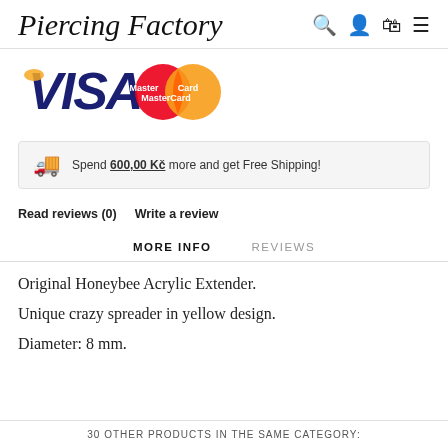Piercing Factory
[Figure (logo): VISA and MasterCard payment logos]
Spend 600,00 Kč more and get Free Shipping!
Read reviews (0)   Write a review
MORE INFO   REVIEWS
Original Honeybee Acrylic Extender.
Unique crazy spreader in yellow design.
Diameter: 8 mm.
30 OTHER PRODUCTS IN THE SAME CATEGORY: